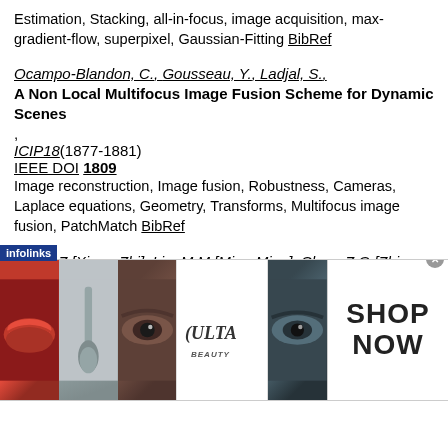Estimation, Stacking, all-in-focus, image acquisition, max-gradient-flow, superpixel, Gaussian-Fitting BibRef
Ocampo-Blandon, C., Gousseau, Y., Ladjal, S., A Non Local Multifocus Image Fusion Scheme for Dynamic Scenes, ICIP18(1877-1881) IEEE DOI 1809 Image reconstruction, Image fusion, Robustness, Cameras, Laplace equations, Geometry, Transforms, Multifocus image fusion, PatchMatch BibRef
Bai, X.Z.[Xiang-Zhi], Liu, M.M.[Miao-Ming], Chen, Z.G.[Zhi-Guo], Wang, P.[Peng], Zhang, Y.[Yu], Morphology and Active Contour Model for Multi-Focus Image Fusion, DICTA15(1-6) IEEE DOI 1603 ...ution BibRef
[Figure (photo): Advertisement banner for ULTA beauty showing makeup images (lips, makeup brush, eye, ULTA logo, eye) with SHOP NOW text]